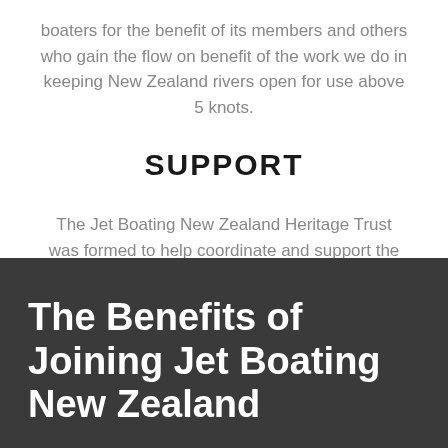boaters for the benefit of its members and others who gain the flow on benefit of the work we do in keeping New Zealand rivers open for use above 5 knots.
SUPPORT
The Jet Boating New Zealand Heritage Trust was formed to help coordinate and support the efforts of all those interested in preserving the history of jet boating for future generations.
The Benefits of Joining Jet Boating New Zealand